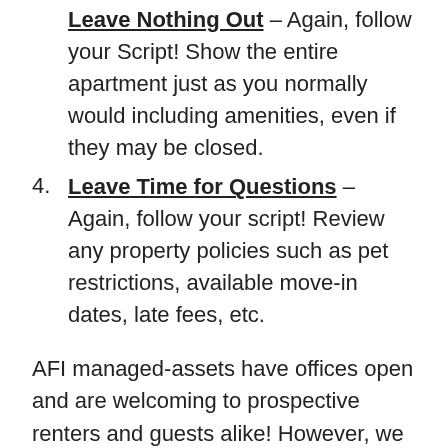Leave Nothing Out – Again, follow your Script! Show the entire apartment just as you normally would including amenities, even if they may be closed.
Leave Time for Questions – Again, follow your script! Review any property policies such as pet restrictions, available move-in dates, late fees, etc.
AFI managed-assets have offices open and are welcoming to prospective renters and guests alike! However, we remain abreast to the global situation and are always willing to accommodate for individuals that would prefer to limit in-person interaction. While change and innovation can be difficult, we remain optimistic that these lessons